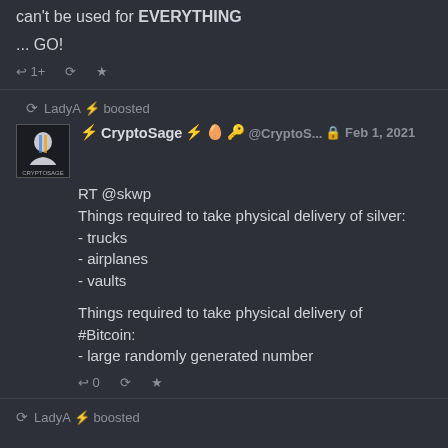can't be used for EVERYTHING

... GO!
LadyA ⚡ boosted
⚡ CryptoSage ⚡ 🥚 🔑 @CryptoS... Feb 1, 2021
RT @skwp
Things required to take physical delivery of silver:
- trucks
- airplanes
- vaults

Things required to take physical delivery of #Bitcoin:
- large randomly generated number
LadyA ⚡ boosted